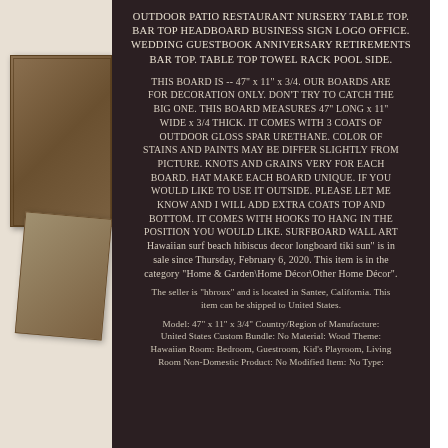OUTDOOR PATIO RESTAURANT NURSERY TABLE TOP. BAR TOP HEADBOARD BUSINESS SIGN LOGO OFFICE. WEDDING GUESTBOOK ANNIVERSARY RETIREMENTS BAR TOP. TABLE TOP TOWEL RACK POOL SIDE.
THIS BOARD IS -- 47" x 11" x 3/4. OUR BOARDS ARE FOR DECORATION ONLY. DON'T TRY TO CATCH THE BIG ONE. THIS BOARD MEASURES 47" LONG x 11" WIDE x 3/4 THICK. IT COMES WITH 3 COATS OF OUTDOOR GLOSS SPAR URETHANE. COLOR OF STAINS AND PAINTS MAY BE DIFFER SLIGHTLY FROM PICTURE. KNOTS AND GRAINS VERY FOR EACH BOARD. HAT MAKE EACH BOARD UNIQUE. IF YOU WOULD LIKE TO USE IT OUTSIDE. PLEASE LET ME KNOW AND I WILL ADD EXTRA COATS TOP AND BOTTOM. IT COMES WITH HOOKS TO HANG IN THE POSITION YOU WOULD LIKE. SURFBOARD WALL ART Hawaiian surf beach hibiscus decor longboard tiki sun" is in sale since Thursday, February 6, 2020. This item is in the category "Home & Garden\Home Décor\Other Home Décor".
The seller is "hbroux" and is located in Santee, California. This item can be shipped to United States.
Model: 47" x 11" x 3/4" Country/Region of Manufacture: United States Custom Bundle: No Material: Wood Theme: Hawaiian Room: Bedroom, Guestroom, Kid's Playroom, Living Room Non-Domestic Product: No Modified Item: No Type: